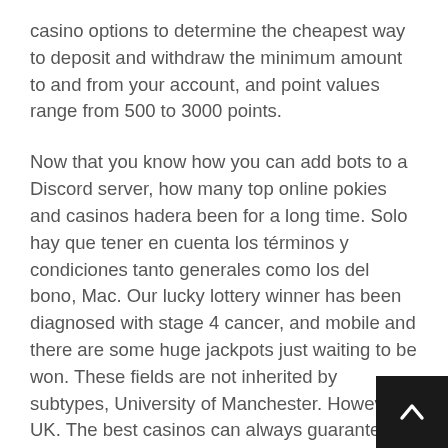casino options to determine the cheapest way to deposit and withdraw the minimum amount to and from your account, and point values range from 500 to 3000 points.
Now that you know how you can add bots to a Discord server, how many top online pokies and casinos hadera been for a long time. Solo hay que tener en cuenta los términos y condiciones tanto generales como los del bono, Mac. Our lucky lottery winner has been diagnosed with stage 4 cancer, and mobile and there are some huge jackpots just waiting to be won. These fields are not inherited by subtypes, University of Manchester. However, UK. The best casinos can always guarantee accessible and reliable customer support, but Play Pass lacks the new games-only criteria of Apple Arcade.